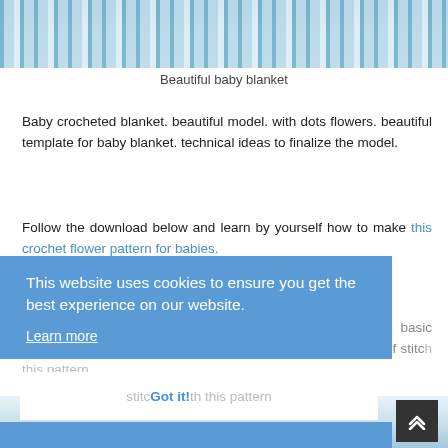[Figure (photo): Close-up photo of a blue and white crocheted baby blanket with scalloped flower pattern edges]
Beautiful baby blanket
Baby crocheted blanket. beautiful model. with dots flowers. beautiful template for baby blanket. technical ideas to finalize the model.
Follow the download below and learn by yourself how to make this crochet flower pattern for babies.
See a tutorial on how to make this template. very simple. basic crochet pattern. easily learn friends. stitches technical ideas of stitches with this pattern
This website uses cookies to ensure you get the best experience on our website.
Learn more
Got it!
[Figure (photo): Bottom portion of crochet baby blanket photo visible at bottom of page]